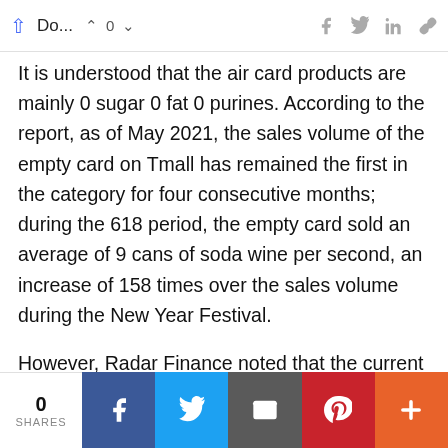Do... ^ 0 v [social icons]
It is understood that the air card products are mainly 0 sugar 0 fat 0 purines. According to the report, as of May 2021, the sales volume of the empty card on Tmall has remained the first in the category for four consecutive months; during the 618 period, the empty card sold an average of 9 cans of soda wine per second, an increase of 158 times over the sales volume during the New Year Festival.
However, Radar Finance noted that the current fans of Taobao's air card flagship store are only about 25,000 or so, and its hot no. 1 product shows that t
0 SHARES [Facebook] [Twitter] [Email] [Pinterest] [More]